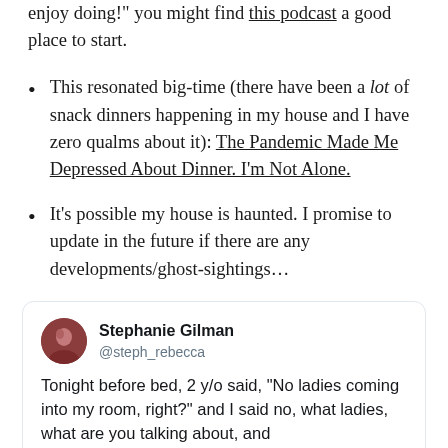enjoy doing!" you might find this podcast a good place to start.
This resonated big-time (there have been a lot of snack dinners happening in my house and I have zero qualms about it): The Pandemic Made Me Depressed About Dinner. I'm Not Alone.
It's possible my house is haunted. I promise to update in the future if there are any developments/ghost-sightings…
[Figure (screenshot): Embedded tweet from Stephanie Gilman (@steph_rebecca): Tonight before bed, 2 y/o said, "No ladies coming into my room, right?" and I said no, what ladies, what are you talking about, and]